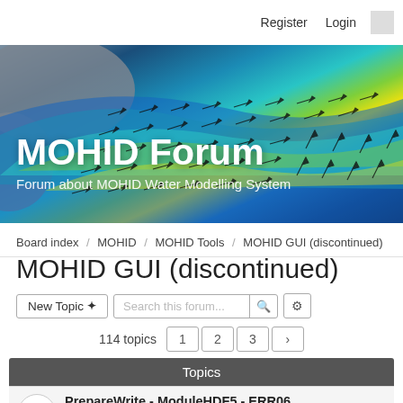Register  Login
[Figure (illustration): MOHID Forum banner image showing ocean current simulation with color gradient (blue, cyan, green, yellow) and velocity arrows overlaid on a coastal map]
MOHID Forum
Forum about MOHID Water Modelling System
Board index / MOHID / MOHID Tools / MOHID GUI (discontinued)
MOHID GUI (discontinued)
New Topic ✦  Search this forum...  🔍  ⚙
114 topics  1  2  3  >
| Topics |
| --- |
| PrepareWrite - ModuleHDF5 - ERR06 | Last post by davidbrito « Fri Jun 26, 2015 14:54 |